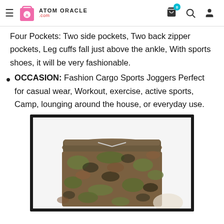Atom Oracle .com — navigation header with cart, search, user icons
Four Pockets: Two side pockets, Two back zipper pockets, Leg cuffs fall just above the ankle, With sports shoes, it will be very fashionable.
OCCASION: Fashion Cargo Sports Joggers Perfect for casual wear, Workout, exercise, active sports, Camp, lounging around the house, or everyday use.
[Figure (photo): Close-up photo of camouflage cargo jogger shorts/pants laid flat on a white background, showing elastic waistband with drawstring and camouflage pattern in brown, green, and dark colors.]